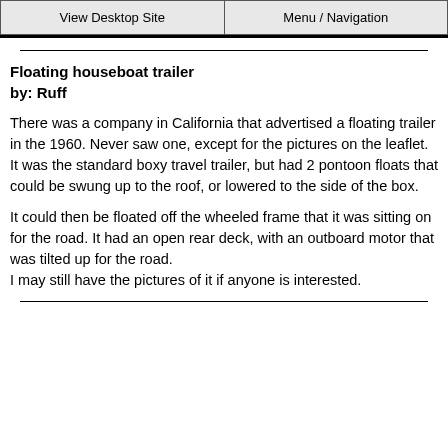View Desktop Site | Menu / Navigation
Floating houseboat trailer
by: Ruff
There was a company in California that advertised a floating trailer in the 1960. Never saw one, except for the pictures on the leaflet. It was the standard boxy travel trailer, but had 2 pontoon floats that could be swung up to the roof, or lowered to the side of the box.
It could then be floated off the wheeled frame that it was sitting on for the road. It had an open rear deck, with an outboard motor that was tilted up for the road.
I may still have the pictures of it if anyone is interested.